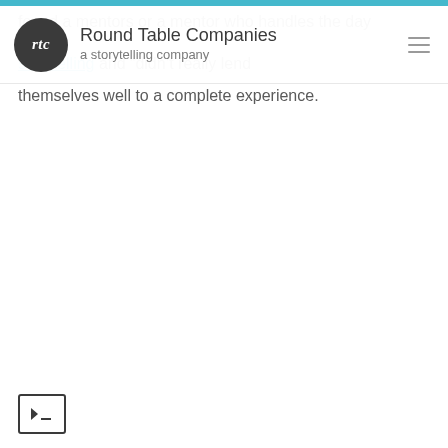Round Table Companies — a storytelling company
themselves well to a complete experience.
[Figure (screenshot): Terminal/command prompt icon — a small rounded rectangle with a right-pointing arrow and underscore prompt symbol inside]